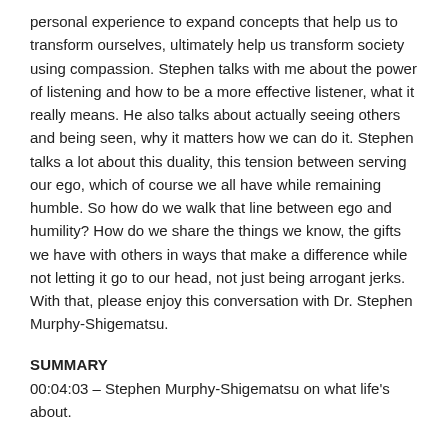personal experience to expand concepts that help us to transform ourselves, ultimately help us transform society using compassion. Stephen talks with me about the power of listening and how to be a more effective listener, what it really means. He also talks about actually seeing others and being seen, why it matters how we can do it. Stephen talks a lot about this duality, this tension between serving our ego, which of course we all have while remaining humble. So how do we walk that line between ego and humility? How do we share the things we know, the gifts we have with others in ways that make a difference while not letting it go to our head, not just being arrogant jerks. With that, please enjoy this conversation with Dr. Stephen Murphy-Shigematsu.
SUMMARY
00:04:03 – Stephen Murphy-Shigematsu on what life's about.